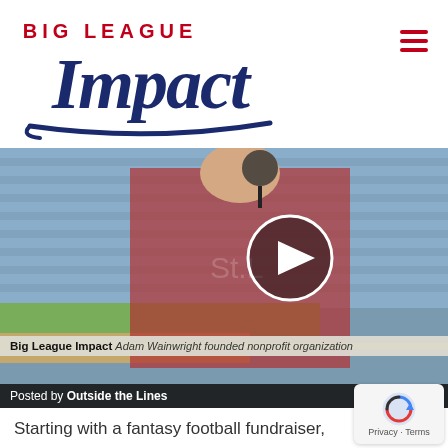[Figure (logo): Big League Impact logo — script 'Impact' in navy blue with 'BIG LEAGUE' in red above, underline swoosh below]
[Figure (screenshot): Video thumbnail showing a baseball player in a red Cardinals jersey being interviewed in a stadium with empty blue seats. A play button circle is overlaid. Lower bar reads 'Big League Impact — Adam Wainwright founded nonprofit organization'. Below: 'Posted by Outside the Lines'.]
Starting with a fantasy football fundraiser,